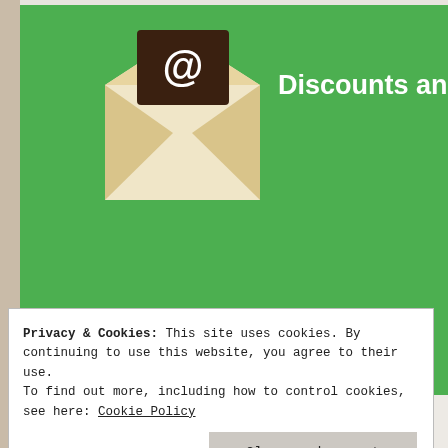[Figure (illustration): Green promotional banner with envelope/email icon and text 'Discounts and offers every m[onth]' (partially cropped)]
Stay Connected
[Figure (photo): A book titled 'Colors of Confinement' on a wooden surface, partially visible]
Privacy & Cookies: This site uses cookies. By continuing to use this website, you agree to their use.
To find out more, including how to control cookies, see here: Cookie Policy
Close and accept